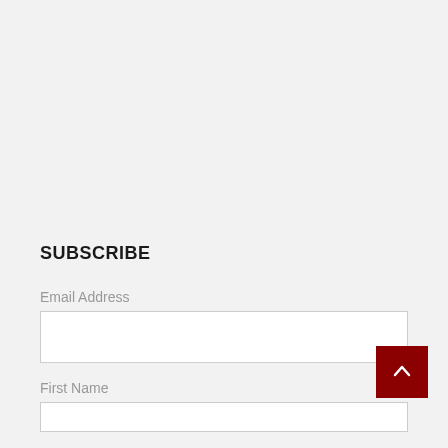SUBSCRIBE
Email Address
First Name